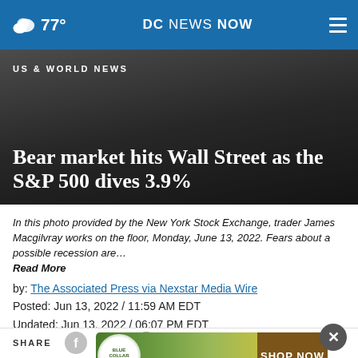77° DC NEWS NOW
US & WORLD NEWS
Bear market hits Wall Street as the S&P 500 dives 3.9%
In this photo provided by the New York Stock Exchange, trader James Macgilvray works on the floor, Monday, June 13, 2022. Fears about a possible recession are… Read More
by: The Associated Press via Nexstar Media Wire
Posted: Jun 13, 2022 / 11:59 AM EDT
Updated: Jun 13, 2022 / 06:07 PM EDT
SHARE